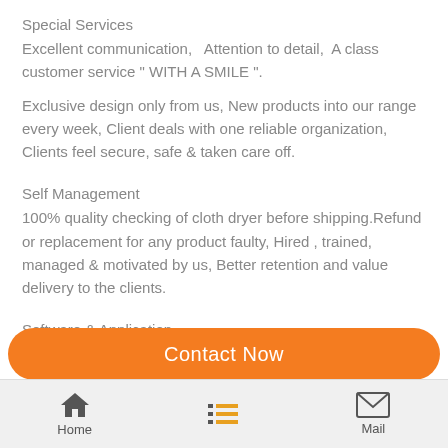Special Services
Excellent communication,   Attention to detail,  A class customer service " WITH A SMILE ".
Exclusive design only from us, New products into our range every week, Client deals with one reliable organization, Clients feel secure, safe & taken care off.
Self Management
100% quality checking of cloth dryer before shipping.Refund or replacement for any product faulty, Hired , trained, managed & motivated by us, Better retention and value delivery to the clients.
Software & Application
Fully Automated Database System for: Quality Control, BMS System/ Records, Client Feedback.
Other Products
Contact Now
Home  Mail